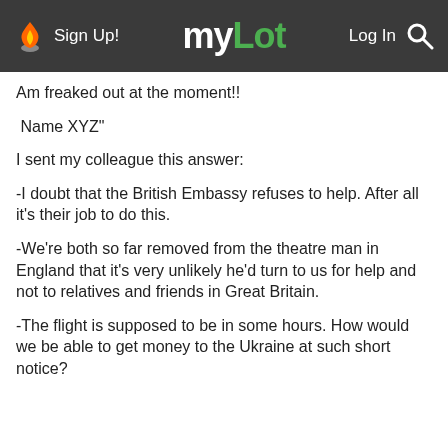myLot — Sign Up! | Log In
Am freaked out at the moment!!
Name XYZ"
I sent my colleague this answer:
-I doubt that the British Embassy refuses to help. After all it's their job to do this.
-We're both so far removed from the theatre man in England that it's very unlikely he'd turn to us for help and not to relatives and friends in Great Britain.
-The flight is supposed to be in some hours. How would we be able to get money to the Ukraine at such short notice?